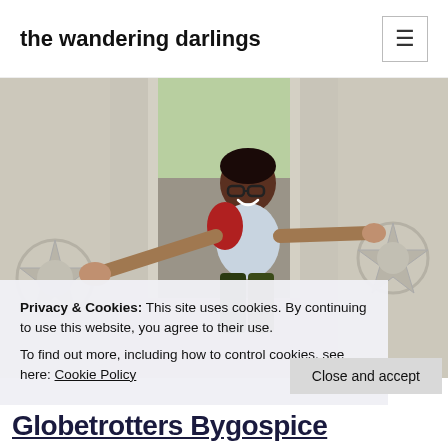the wandering darlings
[Figure (photo): A woman with glasses and a red backpack poses playfully, leaning through a rectangular opening in a white ornately carved wall, smiling and stretching her arms out wide.]
Privacy & Cookies: This site uses cookies. By continuing to use this website, you agree to their use.
To find out more, including how to control cookies, see here: Cookie Policy
Close and accept
Globetrotters Bygospice